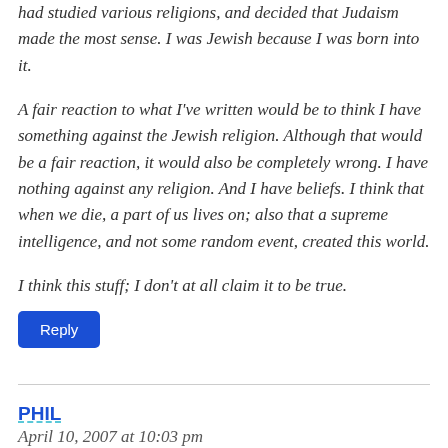had studied various religions, and decided that Judaism made the most sense. I was Jewish because I was born into it.
A fair reaction to what I've written would be to think I have something against the Jewish religion. Although that would be a fair reaction, it would also be completely wrong. I have nothing against any religion. And I have beliefs. I think that when we die, a part of us lives on; also that a supreme intelligence, and not some random event, created this world.
I think this stuff; I don't at all claim it to be true.
Reply
PHIL
April 10, 2007 at 10:03 pm
Ben,